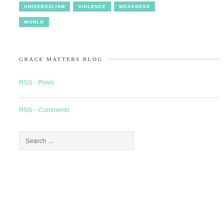UNIVERSALISM
VIOLENCE
WEAKNESS
WORLD
GRACE MATTERS BLOG
RSS - Posts
RSS - Comments
Search ...